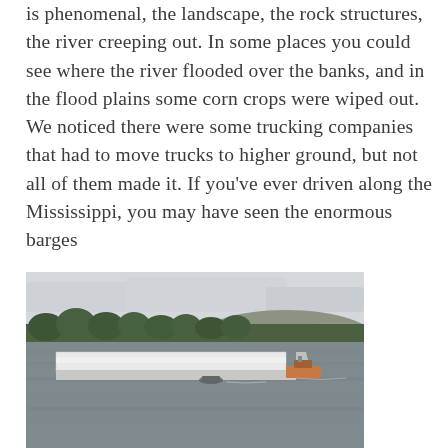is phenomenal, the landscape, the rock structures, the river creeping out. In some places you could see where the river flooded over the banks, and in the flood plains some corn crops were wiped out. We noticed there were some trucking companies that had to move trucks to higher ground, but not all of them made it. If you've ever driven along the Mississippi, you may have seen the enormous barges
[Figure (photo): A wide river with a large white barge in the middle. Trees line the far bank with hills behind them. The sky is overcast. A small boat is also visible on the water.]